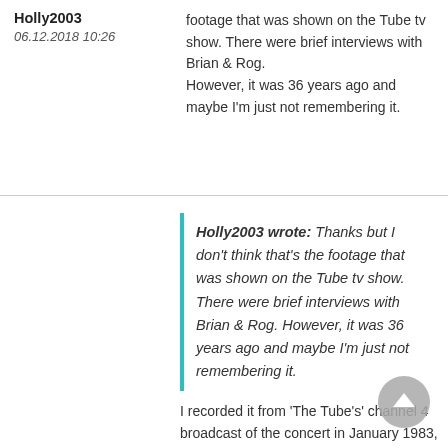Holly2003
06.12.2018 10:26
footage that was shown on the Tube tv show. There were brief interviews with Brian & Rog.
However, it was 36 years ago and maybe I'm just not remembering it.
·
06.12.2018 11:53
Holly2003 wrote: Thanks but I don't think that's the footage that was shown on the Tube tv show. There were brief interviews with Brian & Rog. However, it was 36 years ago and maybe I'm just not remembering it.
I recorded it from 'The Tube's' channel 4 broadcast of the concert in January 1983, it was never again repeated in it's entirety.
It also contains footage of Roger and Brian being interviewed, which I haven't included for copyright reasons.